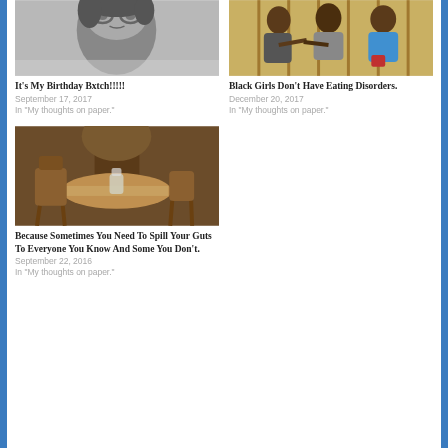[Figure (photo): Black and white close-up photo of a person with glasses]
It's My Birthday Bxtch!!!!!
September 17, 2017
In "My thoughts on paper."
[Figure (photo): Color photo of three women posing outdoors near a wooden fence]
Black Girls Don't Have Eating Disorders.
December 20, 2017
In "My thoughts on paper."
[Figure (photo): Color photo of wooden chairs and a table with a candle/glass outdoors]
Because Sometimes You Need To Spill Your Guts To Everyone You Know And Some You Don't.
September 22, 2016
In "My thoughts on paper."